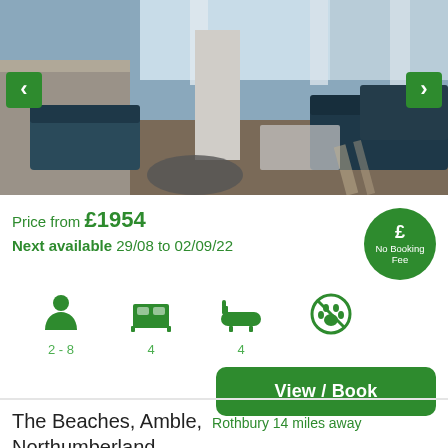[Figure (photo): Interior photo of a modern living room with large windows overlooking the sea, dark sofas, glass coffee table, with navigation arrows on left and right]
Price from £1954
Next available 29/08 to 02/09/22
[Figure (infographic): Green circle badge with pound sign and text 'No Booking Fee']
[Figure (infographic): Green person icon, 2 - 8 guests; green bed icon, 4 bedrooms; green bath icon, 4 bathrooms; no pets circle icon]
View / Book
The Beaches, Amble, Northumberland, Northern England, England
Rothbury 14 miles away